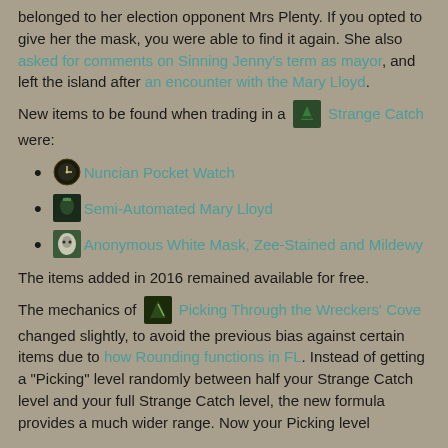belonged to her election opponent Mrs Plenty. If you opted to give her the mask, you were able to find it again. She also asked for comments on Sinning Jenny's term as mayor, and left the island after an encounter with the Mary Lloyd.
New items to be found when trading in a [icon: Strange Catch] Strange Catch were:
[icon: Nuncian Pocket Watch] Nuncian Pocket Watch
[icon: Semi-Automated Mary Lloyd] Semi-Automated Mary Lloyd
[icon: Anonymous White Mask] Anonymous White Mask, Zee-Stained and Mildewy
The items added in 2016 remained available for free.
The mechanics of [icon: Picking Through the Wreckers' Cove] Picking Through the Wreckers' Cove changed slightly, to avoid the previous bias against certain items due to how Rounding functions in FL. Instead of getting a "Picking" level randomly between half your Strange Catch level and your full Strange Catch level, the new formula provides a much wider range. Now your Picking level